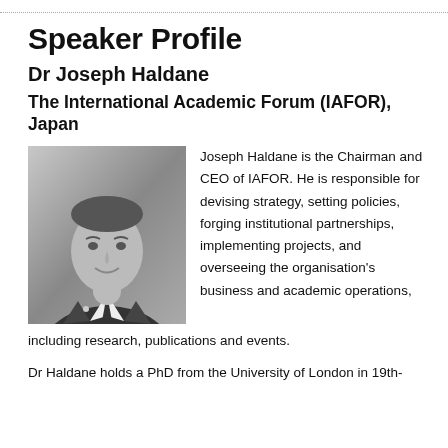Speaker Profile
Dr Joseph Haldane
The International Academic Forum (IAFOR), Japan
[Figure (photo): Black and white headshot photo of Dr Joseph Haldane, a man in a suit and tie, smiling slightly.]
Joseph Haldane is the Chairman and CEO of IAFOR. He is responsible for devising strategy, setting policies, forging institutional partnerships, implementing projects, and overseeing the organisation's business and academic operations, including research, publications and events.
Dr Haldane holds a PhD from the University of London in 19th-